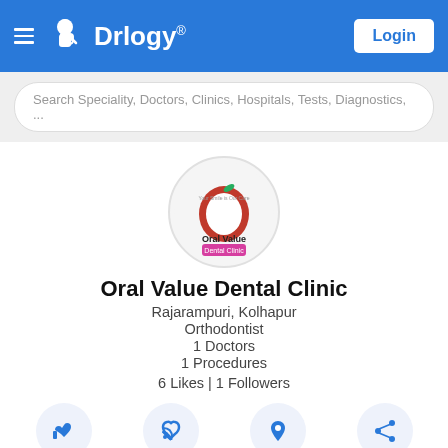[Figure (logo): Drlogy app header with logo, brand name, and Login button on blue background]
Search Speciality, Doctors, Clinics, Hospitals, Tests, Diagnostics, ...
[Figure (logo): Oral Value Dental Clinic circular logo with apple and tooth imagery]
Oral Value Dental Clinic
Rajarampuri, Kolhapur
Orthodontist
1 Doctors
1 Procedures
6 Likes | 1 Followers
[Figure (infographic): Four action buttons: Like (thumbs up), Follow (RSS), Map (pin), Share icons in circles]
Info   Doctors   Procedures   Amenities   Questions